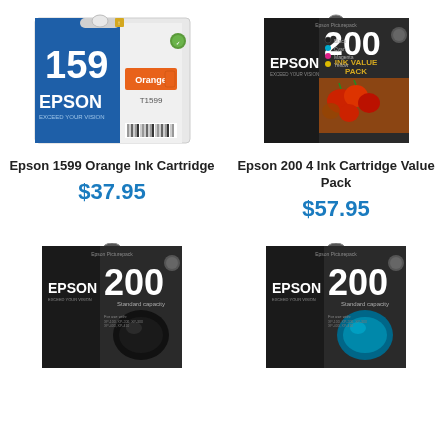[Figure (photo): Epson 159 Orange Ink Cartridge product box - blue and white box with number 159 and orange ink cartridge shown]
Epson 1599 Orange Ink Cartridge
$37.95
[Figure (photo): Epson 200 4 Ink Cartridge Value Pack product box - dark box with photo of tomatoes and 200 INK VALUE PACK text]
Epson 200 4 Ink Cartridge Value Pack
$57.95
[Figure (photo): Epson 200 Black ink cartridge box - dark box with EPSON logo and 200 Standard Capacity text, black ink globe image]
[Figure (photo): Epson 200 Cyan ink cartridge box - dark box with EPSON logo and 200 Standard Capacity text, cyan ink globe image]